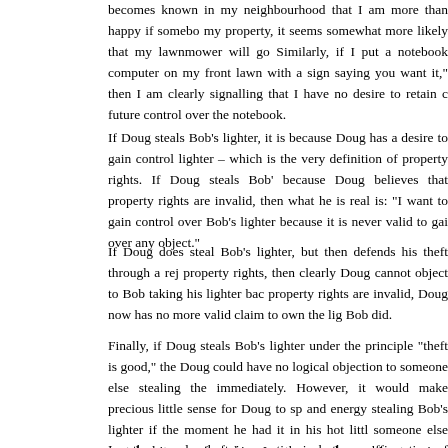becomes known in my neighbourhood that I am more than happy if somebody borrows my property, it seems somewhat more likely that my lawnmower will go missing. Similarly, if I put a notebook computer on my front lawn with a sign saying "take it if you want it," then I am clearly signalling that I have no desire to retain control over future control over the notebook.
If Doug steals Bob's lighter, it is because Doug has a desire to gain control over lighter – which is the very definition of property rights. If Doug steals Bob's lighter because Doug believes that property rights are invalid, then what he is really saying is: "I want to gain control over Bob's lighter because it is never valid to gain control over any object."
If Doug does steal Bob's lighter, but then defends his theft through a rejection of property rights, then clearly Doug cannot object to Bob taking his lighter back. Since property rights are invalid, Doug now has no more valid claim to own the lighter than Bob did.
Finally, if Doug steals Bob's lighter under the principle "theft is good," then clearly Doug could have no logical objection to someone else stealing the lighter immediately. However, it would make precious little sense for Doug to spend time and energy stealing Bob's lighter if the moment he had it in his hot little hands, someone else snatched it away from him. In other words, working to gain control over a piece of property is only valid if you can assert your property rights over that object. No man will bother stealing a wallet if he has certain knowledge that it will be stolen from him the moment he gets his hands on it.
In other words, theft in practice is both an affirmation of property rights and a denial of property rights. Any moral theory that supports theft thus both affirms and